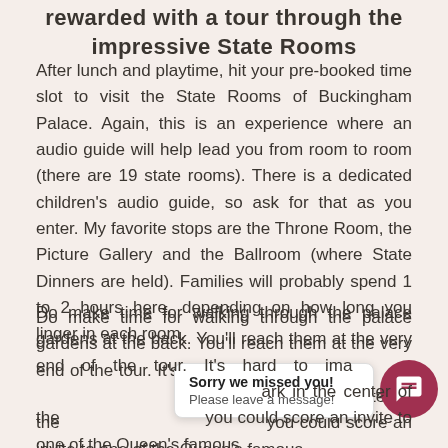rewarded with a tour through the impressive State Rooms
After lunch and playtime, hit your pre-booked time slot to visit the State Rooms of Buckingham Palace. Again, this is an experience where an audio guide will help lead you from room to room (there are 19 state rooms). There is a dedicated children's audio guide, so ask for that as you enter. My favorite stops are the Throne Room, the Picture Gallery and the Ballroom (where State Dinners are held). Families will probably spend 1 to 2 hours here, depending on how long you linger in each room.
Do make time for walking through the palace gardens at the back. You'll reach them at the very end of the tour. It's hard to imagine such a large park in the center of the city. If you're lucky, you could score an invite to one of the Queen's famous